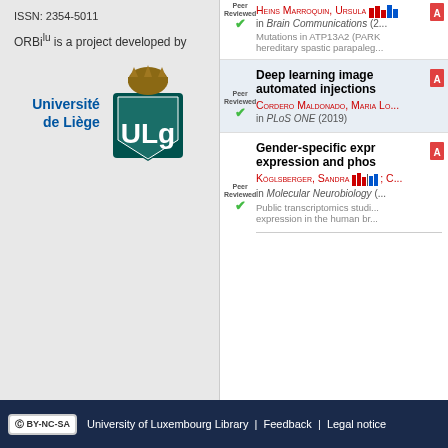ISSN: 2354-5011
ORBi^lu is a project developed by
[Figure (logo): Université de Liège logo with ULg shield emblem]
Deep learning image automated injections — Cordero Maldonado, Maria Lo... in PLoS ONE (2019). Peer Reviewed.
Gender-specific expr expression and phos — Köglsberger, Sandra; C... in Molecular Neurobiology. Peer Reviewed. Public transcriptomics studi expression in the human br...
CC BY-NC-SA  University of Luxembourg Library | Feedback | Legal notice